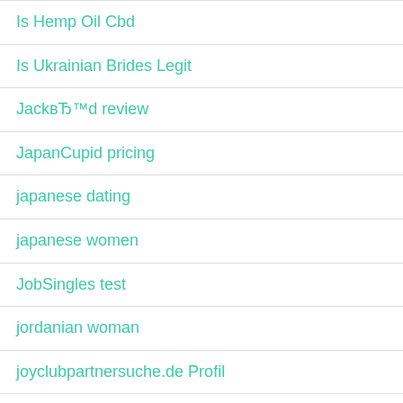Is Hemp Oil Cbd
Is Ukrainian Brides Legit
JackвЂ™d review
JapanCupid pricing
japanese dating
japanese women
JobSingles test
jordanian woman
joyclubpartnersuche.de Profil
Kansas Bad Credit Laws
korean mail order brides
latin brides
latin dating